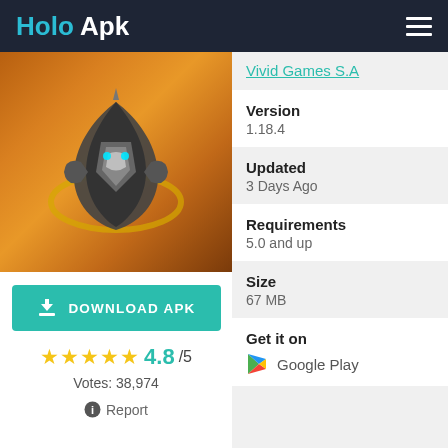Holo Apk
[Figure (screenshot): App icon/screenshot showing a robotic spinning top character on orange background]
DOWNLOAD APK
★★★★★ 4.8/5
Votes: 38,974
Report
Vivid Games S.A
Version
1.18.4
Updated
3 Days Ago
Requirements
5.0 and up
Size
67 MB
Get it on
Google Play